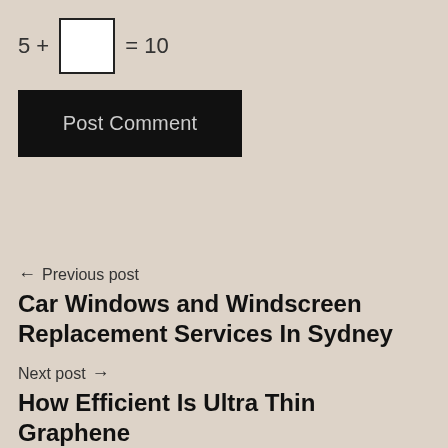5 + [ ] = 10
Post Comment
← Previous post
Car Windows and Windscreen Replacement Services In Sydney
Next post →
How Efficient Is Ultra Thin Graphene